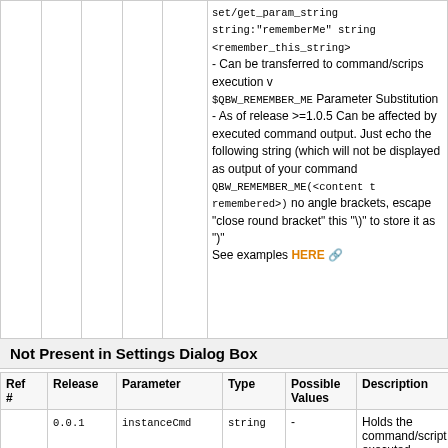| Ref # | Release | Parameter | Type | Possible Values | Description |
| --- | --- | --- | --- | --- | --- |
|  |  | set/get_param_string string:"rememberMe" string <remember_this_string>
- Can be transferred to command/scrips execution via $QBW_REMEMBER_ME Parameter Substitution
- As of release >=1.0.5 Can be affected by executed command output. Just echo the following string (which will not be displayed as output of your command QBW_REMEMBER_ME(<content to be remembered>) no angle brackets, escape "close round bracket" this "\)" to store it as ")"
See examples HERE |  |  |
Not Present in Settings Dialog Box
| Ref # | Release | Parameter | Type | Possible Values | Description |
| --- | --- | --- | --- | --- | --- |
|  | 0.0.1 | instanceCmd | string | - | Holds the command/script to be executed |
Advanced Settings and Tools
...